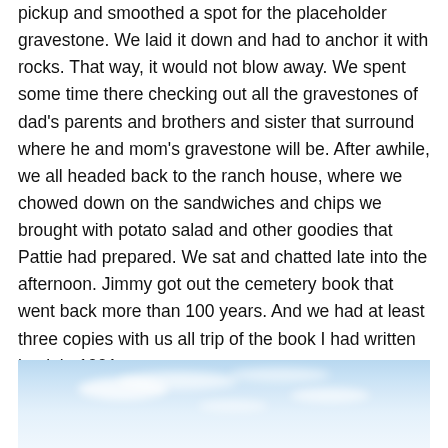pickup and smoothed a spot for the placeholder gravestone. We laid it down and had to anchor it with rocks. That way, it would not blow away. We spent some time there checking out all the gravestones of dad's parents and brothers and sister that surround where he and mom's gravestone will be. After awhile, we all headed back to the ranch house, where we chowed down on the sandwiches and chips we brought with potato salad and other goodies that Pattie had prepared. We sat and chatted late into the afternoon. Jimmy got out the cemetery book that went back more than 100 years. And we had at least three copies with us all trip of the book I had written back in 1991.
[Figure (photo): A wide landscape photograph showing a blue sky with scattered white clouds, taken outdoors.]